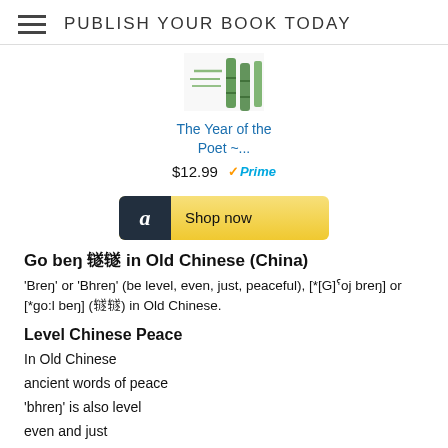PUBLISH YOUR BOOK TODAY
[Figure (illustration): Book cover thumbnail showing green bamboo-like stripes on white]
The Year of the Poet ~...
$12.99  ✓Prime
[Figure (other): Amazon Shop now button with dark amazon logo icon and gold gradient background]
Go beŋ 𫟦𫟦 in Old Chinese (China)
'Breŋ' or 'Bhreŋ' (be level, even, just, peaceful), [*[G]ˤoj breŋ] or [*go:l beŋ] (𫟦𫟦) in Old Chinese.
Level Chinese Peace
In Old Chinese
ancient words of peace
'bhreŋ' is also level
even and just